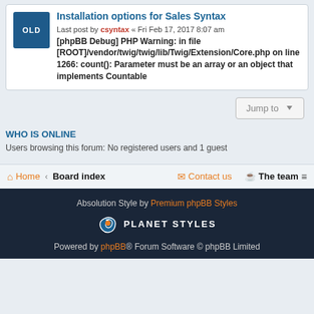Installation options for Sales Syntax
Last post by csyntax « Fri Feb 17, 2017 8:07 am [phpBB Debug] PHP Warning: in file [ROOT]/vendor/twig/twig/lib/Twig/Extension/Core.php on line 1266: count(): Parameter must be an array or an object that implements Countable
[Figure (other): OLD icon - dark blue square with text OLD]
Jump to
WHO IS ONLINE
Users browsing this forum: No registered users and 1 guest
Home · Board index · Contact us · The team
Absolution Style by Premium phpBB Styles
[Figure (logo): Planet Styles logo with rocket icon]
Powered by phpBB® Forum Software © phpBB Limited